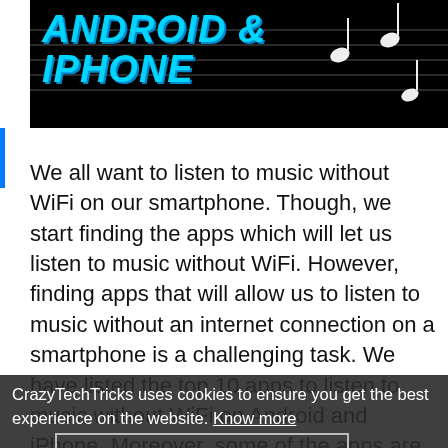[Figure (screenshot): Banner image with black background, music notes, and cyan/blue italic bold text reading 'ANDROID & IPHONE']
We all want to listen to music without WiFi on our smartphone. Though, we start finding the apps which will let us listen to music without WiFi. However, finding apps that will allow us to listen to music without an internet connection on a smartphone is a challenging task. We have listed the top 10 apps to listen to music without WiFi on Android and iPhone. Moreover, some of the apps are free to use but, some of the apps are having paid service. Well without wasting more let's check what these apps which will help us to listen to music without
CrazyTechTricks uses cookies to ensure you get the best experience on the website. Know more
OKAY